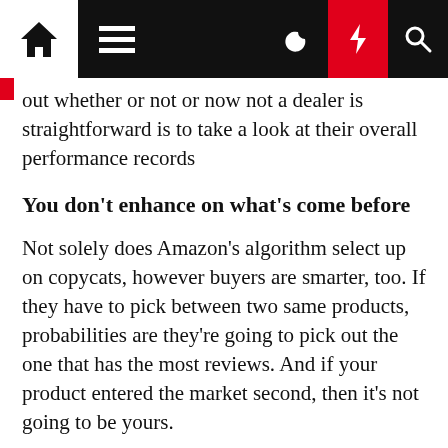[Navigation bar with home, menu, moon, bolt, and search icons]
out whether or not or now not a dealer is straightforward is to take a look at their overall performance records
You don't enhance on what's come before
Not solely does Amazon's algorithm select up on copycats, however buyers are smarter, too. If they have to pick between two same products, probabilities are they're going to pick out the one that has the most reviews. And if your product entered the market second, then it's not going to be yours.
Therefore, when you begin analysing a product or product niche, make certain to assessment the remarks left in the product's reviews. Look for customers' pain points. Figure out what's no longer